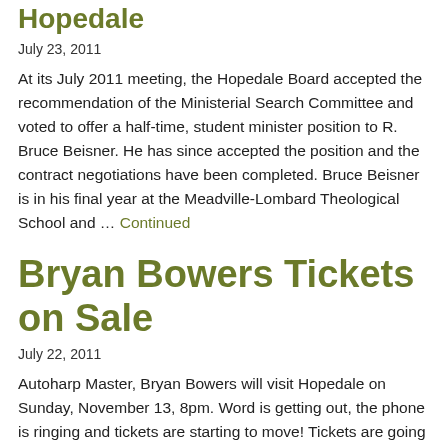Hopedale
July 23, 2011
At its July 2011 meeting, the Hopedale Board accepted the recommendation of the Ministerial Search Committee and voted to offer a half-time, student minister position to R. Bruce Beisner. He has since accepted the position and the contract negotiations have been completed. Bruce Beisner is in his final year at the Meadville-Lombard Theological School and … Continued
Bryan Bowers Tickets on Sale
July 22, 2011
Autoharp Master, Bryan Bowers will visit Hopedale on Sunday, November 13, 8pm. Word is getting out, the phone is ringing and tickets are starting to move! Tickets are going for $15, $10 for seniors. Proceeds will go to the